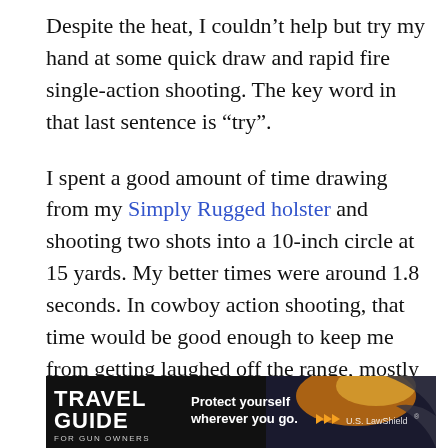Despite the heat, I couldn't help but try my hand at some quick draw and rapid fire single-action shooting. The key word in that last sentence is “try”.
I spent a good amount of time drawing from my Simply Rugged holster and shooting two shots into a 10-inch circle at 15 yards. My better times were around 1.8 seconds. In cowboy action shooting, that time would be good enough to keep me from getting laughed off the range, mostly due to the kind nature of the folks that
[Figure (illustration): Advertisement banner for Travel Guide for Gun Owners featuring U.S. LawShield with text 'Protect yourself wherever you go.' and orange play-button arrows on a dark background.]